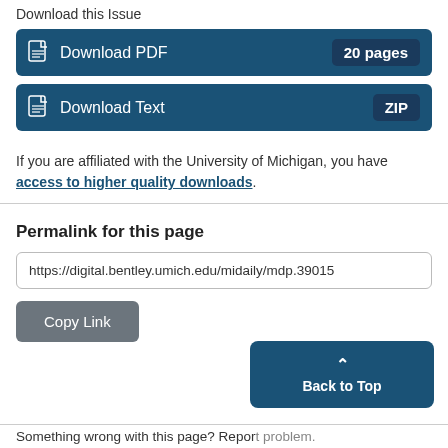Download this Issue
Download PDF  20 pages
Download Text  ZIP
If you are affiliated with the University of Michigan, you have access to higher quality downloads.
Permalink for this page
https://digital.bentley.umich.edu/midaily/mdp.39015
Copy Link
Back to Top
Something wrong with this page? Report problem.